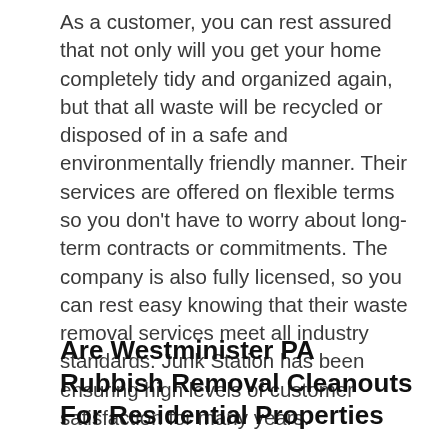As a customer, you can rest assured that not only will you get your home completely tidy and organized again, but that all waste will be recycled or disposed of in a safe and environmentally friendly manner. Their services are offered on flexible terms so you don't have to worry about long-term contracts or commitments. The company is also fully licensed, so you can rest easy knowing that their waste removal services meet all industry standards. Junk Station has been ensuring high levels of customer satisfaction for many years.
Are Westminister PA Rubbish Removal Cleanouts For Residential Properties